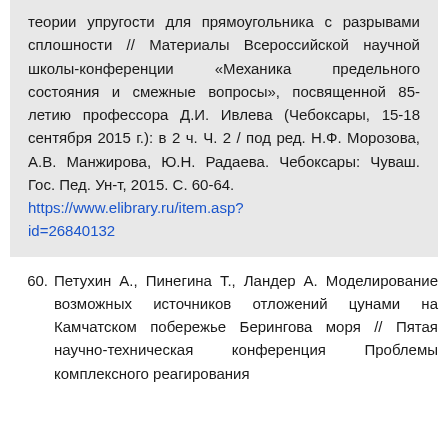теории упругости для прямоугольника с разрывами сплошности // Материалы Всероссийской научной школы-конференции «Механика предельного состояния и смежные вопросы», посвященной 85-летию профессора Д.И. Ивлева (Чебоксары, 15-18 сентября 2015 г.): в 2 ч. Ч. 2 / под ред. Н.Ф. Морозова, А.В. Манжирова, Ю.Н. Радаева. Чебоксары: Чуваш. Гос. Пед. Ун-т, 2015. С. 60-64. https://www.elibrary.ru/item.asp?id=26840132
60. Петухин А., Пинегина Т., Ландер А. Моделирование возможных источников отложений цунами на Камчатском побережье Берингова моря // Пятая научно-техническая конференция Проблемы комплексного реагирования...